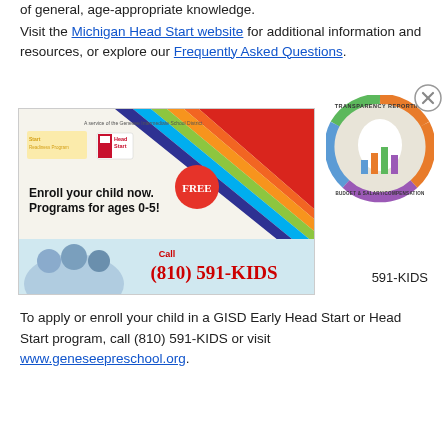of general, age-appropriate knowledge.
Visit the Michigan Head Start website for additional information and resources, or explore our Frequently Asked Questions.
[Figure (infographic): GISD Head Start and Readiness Program advertisement: 'Enroll your child now. Programs for ages 0-5! FREE Call (810) 591-KIDS'. A service of the Genesee Intermediate School District. Shows children photo and colorful rainbow graphic.]
[Figure (logo): Michigan Transparency Reporting - Budget & Salary/Compensation circular badge logo with Michigan state outline and bar chart graphic.]
591-KIDS
To apply or enroll your child in a GISD Early Head Start or Head Start program, call (810) 591-KIDS or visit www.geneseepreschool.org.